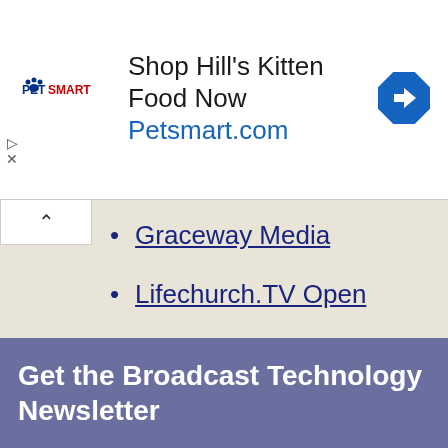[Figure (screenshot): PetSmart advertisement banner showing 'Shop Hill's Kitten Food Now Petsmart.com' with PetSmart logo and blue diamond direction icon]
Graceway Media
Lifechurch.TV Open
Creation Swap
Worship House Media
Get the Broadcast Technology Newsletter